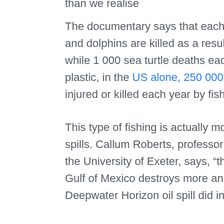than we realise
The documentary says that each year, over 300 000 whales and dolphins are killed as a result of by-catch. Additionally, while 1 000 sea turtle deaths each year are caused by plastic, in the US alone, 250 000 sea turtles are captured, injured or killed each year by fishing vessels.
This type of fishing is actually more dangerous than oil spills. Callum Roberts, professor of Marine Conservation at the University of Exeter, says, “the fishing industry in the Gulf of Mexico destroys more animals in a day than the Deepwater Horizon oil spill did in